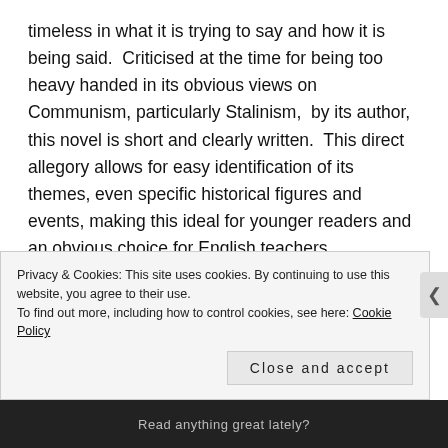timeless in what it is trying to say and how it is being said. Criticised at the time for being too heavy handed in its obvious views on Communism, particularly Stalinism, by its author, this novel is short and clearly written. This direct allegory allows for easy identification of its themes, even specific historical figures and events, making this ideal for younger readers and an obvious choice for English teachers.
Having never had to read it in this environment, I did not suffer for having to analyse and nit-pick at it over a few months. I was drawn into the story, sympathising with the well defined characters; rallying with them against their human oppressors
Privacy & Cookies: This site uses cookies. By continuing to use this website, you agree to their use. To find out more, including how to control cookies, see here: Cookie Policy
Close and accept
Read anything great lately?